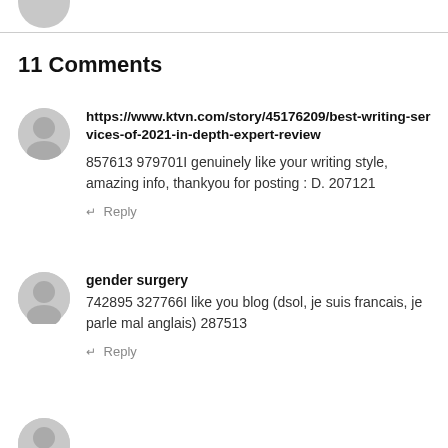[Figure (illustration): Partial avatar image at top — circular gray user avatar with red element, cropped at top of page]
11 Comments
https://www.ktvn.com/story/45176209/best-writing-services-of-2021-in-depth-expert-review
857613 979701I genuinely like your writing style, amazing info, thankyou for posting : D. 207121
↵ Reply
gender surgery
742895 327766I like you blog (dsol, je suis francais, je parle mal anglais) 287513
↵ Reply